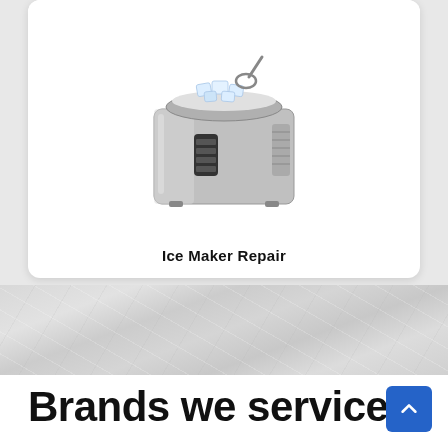[Figure (photo): A stainless steel countertop ice maker machine with ice cubes visible at the top opening, shown in a white card with rounded corners on a light gray background.]
Ice Maker Repair
[Figure (photo): A marble or light stone textured background band]
Brands we service